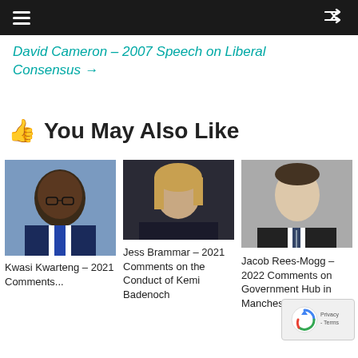Navigation bar with hamburger menu and shuffle icon
David Cameron – 2007 Speech on Liberal Consensus →
👍 You May Also Like
[Figure (photo): Portrait photo of Kwasi Kwarteng, Black man in suit with glasses, smiling]
Kwasi Kwarteng – 2021 Comments...
[Figure (photo): Portrait photo of Jess Brammar, woman with blonde hair against dark background]
Jess Brammar – 2021 Comments on the Conduct of Kemi Badenoch
[Figure (photo): Portrait photo of Jacob Rees-Mogg, man in suit and tie]
Jacob Rees-Mogg – 2022 Comments on Government Hub in Manchester